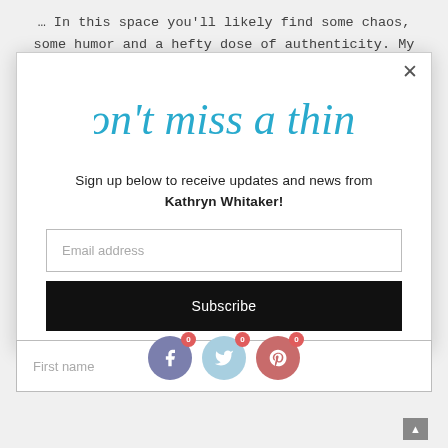… In this space you'll likely find some chaos, some humor and a hefty dose of authenticity. My days are filled with carpool,
[Figure (screenshot): Modal popup with cursive blue script heading 'Don't miss a thing!', subscription prompt text, email address input field, Subscribe button, and First name input field partially visible at the bottom.]
Sign up below to receive updates and news from Kathryn Whitaker!
Email address
Subscribe
First name